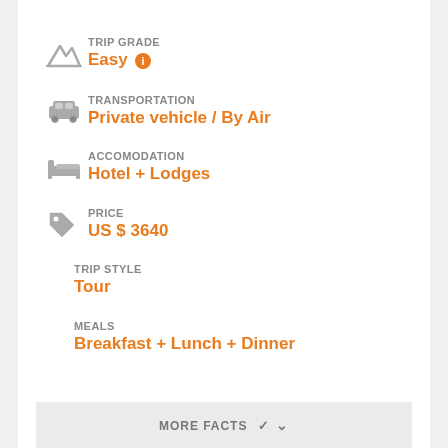TRIP GRADE
Easy ℹ
TRANSPORTATION
Private vehicle / By Air
ACCOMODATION
Hotel + Lodges
PRICE
US $ 3640
TRIP STYLE
Tour
MEALS
Breakfast + Lunch + Dinner
MORE FACTS ∨